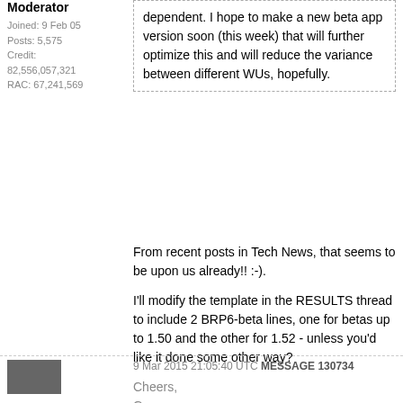Moderator
Joined: 9 Feb 05
Posts: 5,575
Credit: 82,556,057,321
RAC: 67,241,569
dependent. I hope to make a new beta app version soon (this week) that will further optimize this and will reduce the variance between different WUs, hopefully.
From recent posts in Tech News, that seems to be upon us already!! :-).

I'll modify the template in the RESULTS thread to include 2 BRP6-beta lines, one for betas up to 1.50 and the other for 1.52 - unless you'd like it done some other way?

Cheers,
Gary.
9 Mar 2015 21:05:40 UTC MESSAGE 130734